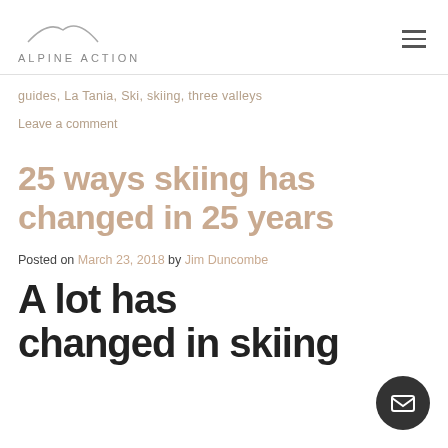ALPINE ACTION
guides, La Tania, Ski, skiing, three valleys
Leave a comment
25 ways skiing has changed in 25 years
Posted on March 23, 2018 by Jim Duncombe
A lot has changed in skiing